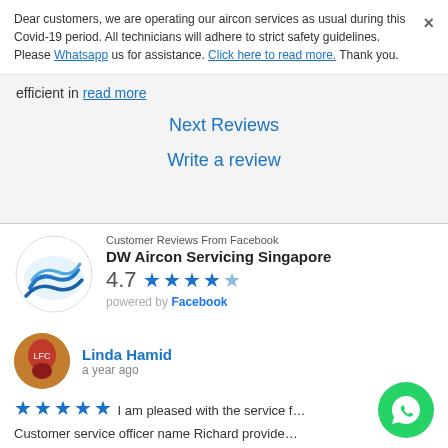Dear customers, we are operating our aircon services as usual during this Covid-19 period. All technicians will adhere to strict safety guidelines. Please Whatsapp us for assistance. Click here to read more. Thank you.
efficient in read more
Next Reviews
Write a review
Customer Reviews From Facebook
DW Aircon Servicing Singapore
4.7 ★★★★½ powered by Facebook
Linda Hamid
a year ago
★★★★★ I am pleased with the service f… Customer service officer name Richard provide… He is fast and efficient read more